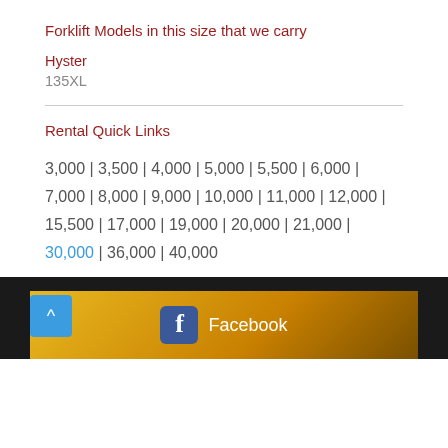Forklift Models in this size that we carry
Hyster
135XL
Rental Quick Links
3,000 | 3,500 | 4,000 | 5,000 | 5,500 | 6,000 | 7,000 | 8,000 | 9,000 | 10,000 | 11,000 | 12,000 | 15,500 | 17,000 | 19,000 | 20,000 | 21,000 | 30,000 | 36,000 | 40,000
[Figure (other): Gold gradient banner with Facebook logo and text, dark footer background with scroll-to-top button]